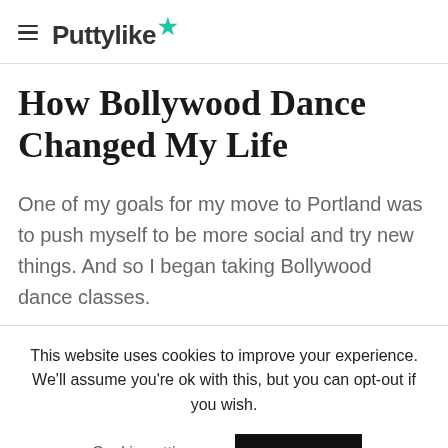Puttylike
How Bollywood Dance Changed My Life
One of my goals for my move to Portland was to push myself to be more social and try new things. And so I began taking Bollywood dance classes.
This website uses cookies to improve your experience. We'll assume you're ok with this, but you can opt-out if you wish.
Cookie settings    ACCEPT